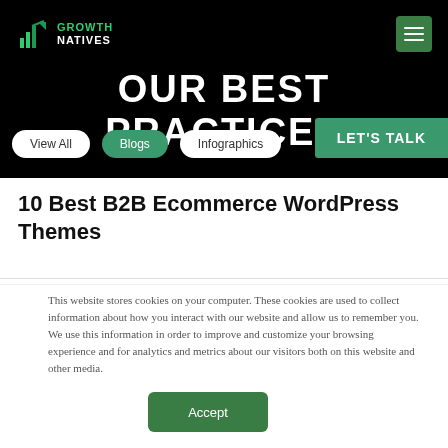Growth Natives
OUR BEST PRACTICES
View All
Blogs
Infographics
LET'S TALK
10 Best B2B Ecommerce WordPress Themes
This website stores cookies on your computer. These cookies are used to collect information about how you interact with our website and allow us to remember you. We use this information in order to improve and customize your browsing experience and for analytics and metrics about our visitors both on this website and other media.
Accept